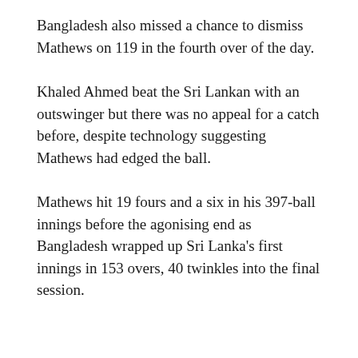Bangladesh also missed a chance to dismiss Mathews on 119 in the fourth over of the day.
Khaled Ahmed beat the Sri Lankan with an outswinger but there was no appeal for a catch before, despite technology suggesting Mathews had edged the ball.
Mathews hit 19 fours and a six in his 397-ball innings before the agonising end as Bangladesh wrapped up Sri Lanka's first innings in 153 overs, 40 twinkles into the final session.